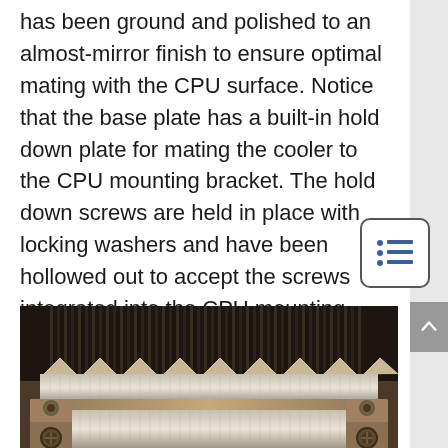has been ground and polished to an almost-mirror finish to ensure optimal mating with the CPU surface. Notice that the base plate has a built-in hold down plate for mating the cooler to the CPU mounting bracket. The hold down screws are held in place with locking washers and have been hollowed out to accept the screws integrated into the CPU mounting bracket.
[Figure (photo): Close-up photograph of a CPU cooler base plate showing heat sink fins from below, with a metal hold-down bracket visible at the bottom with screws at each corner.]